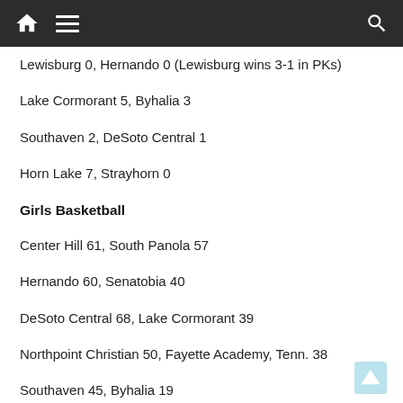Navigation bar with home, menu, and search icons
Lewisburg 0, Hernando 0 (Lewisburg wins 3-1 in PKs)
Lake Cormorant 5, Byhalia 3
Southaven 2, DeSoto Central 1
Horn Lake 7, Strayhorn 0
Girls Basketball
Center Hill 61, South Panola 57
Hernando 60, Senatobia 40
DeSoto Central 68, Lake Cormorant 39
Northpoint Christian 50, Fayette Academy, Tenn. 38
Southaven 45, Byhalia 19